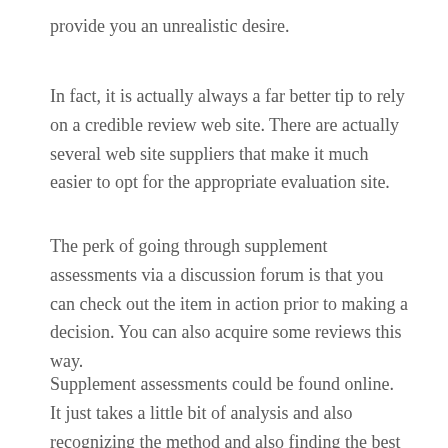provide you an unrealistic desire.
In fact, it is actually always a far better tip to rely on a credible review web site. There are actually several web site suppliers that make it much easier to opt for the appropriate evaluation site.
The perk of going through supplement assessments via a discussion forum is that you can check out the item in action prior to making a decision. You can also acquire some reviews this way.
Supplement assessments could be found online. It just takes a little bit of analysis and also recognizing the method and also finding the best evaluation internet sites.